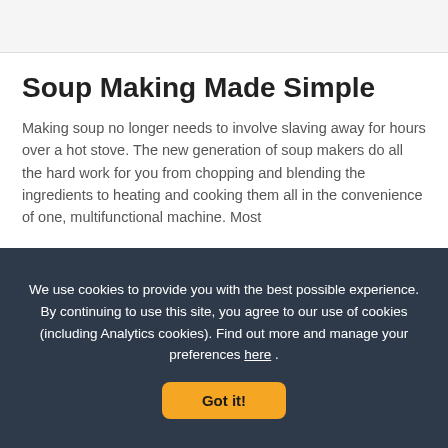Soup Making Made Simple
Making soup no longer needs to involve slaving away for hours over a hot stove. The new generation of soup makers do all the hard work for you from chopping and blending the ingredients to heating and cooking them all in the convenience of one, multifunctional machine. Most
We use cookies to provide you with the best possible experience. By continuing to use this site, you agree to our use of cookies (including Analytics cookies). Find out more and manage your preferences here .
Got it!